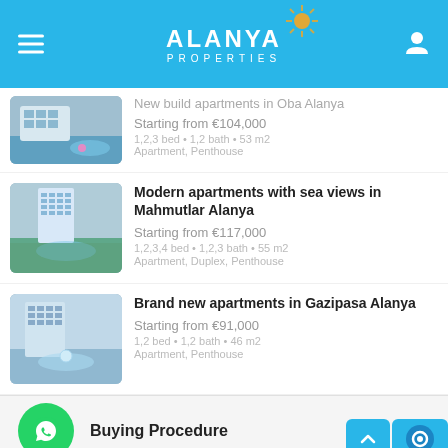Alanya Properties
New build apartments in Oba Alanya
Starting from €104,000
1,2,3 bed • 1,2 bath • 53 m2
Apartment, Penthouse
Modern apartments with sea views in Mahmutlar Alanya
Starting from €117,000
1,2,3,4 bed • 1,2,3 bath • 55 m2
Apartment, Duplex, Penthouse
Brand new apartments in Gazipasa Alanya
Starting from €91,000
1,2 bed • 1,2 bath • 46 m2
Apartment, Penthouse
Buying Procedure